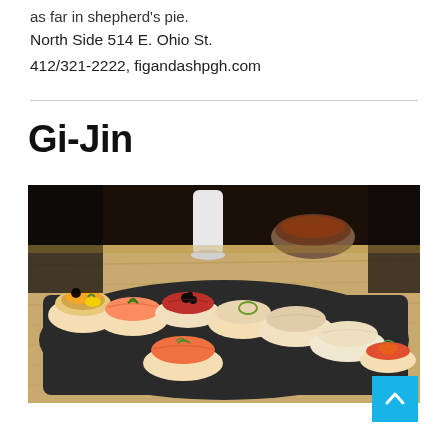as far in shepherd's pie.
North Side 514 E. Ohio St.
412/321-2222, figandashpgh.com
Gi-Jin
[Figure (photo): Close-up photo of assorted nigiri sushi pieces arranged on a dark slate board, with a small bowl of dipping sauce and a white ceramic carafe in the background, placed on a wooden surface.]
...